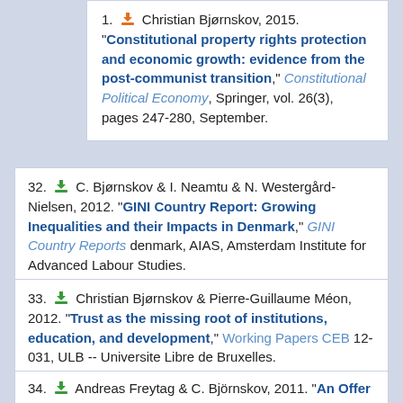1. [download icon] Christian Bjørnskov, 2015. "Constitutional property rights protection and economic growth: evidence from the post-communist transition," Constitutional Political Economy, Springer, vol. 26(3), pages 247-280, September.
32. [download icon] C. Bjørnskov & I. Neamtu & N. Westergård-Nielsen, 2012. "GINI Country Report: Growing Inequalities and their Impacts in Denmark," GINI Country Reports denmark, AIAS, Amsterdam Institute for Advanced Labour Studies.
33. [download icon] Christian Bjørnskov & Pierre-Guillaume Méon, 2012. "Trust as the missing root of institutions, education, and development," Working Papers CEB 12-031, ULB -- Universite Libre de Bruxelles.
34. [download icon] Andreas Freytag & C. Björnskov, 2011. "An Offer You Can't Refuse: Murdering Journalists as an